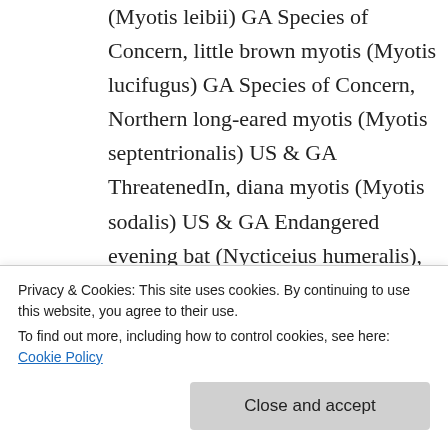(Myotis leibii) GA Species of Concern, little brown myotis (Myotis lucifugus) GA Species of Concern, Northern long-eared myotis (Myotis septentrionalis) US & GA ThreatenedIn, diana myotis (Myotis sodalis) US & GA Endangered evening bat (Nycticeius humeralis), tri-colored bat [formerly Eastern pipistrelle] (Perimyotis subflavus) GA Species...
Privacy & Cookies: This site uses cookies. By continuing to use this website, you agree to their use.
To find out more, including how to control cookies, see here: Cookie Policy